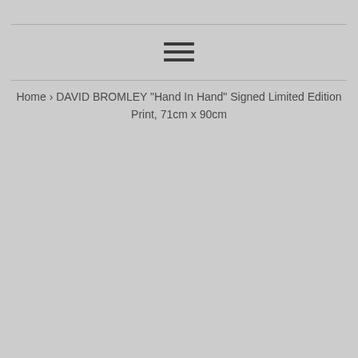[Figure (other): Hamburger menu icon with three horizontal lines]
Home › DAVID BROMLEY "Hand In Hand" Signed Limited Edition Print, 71cm x 90cm